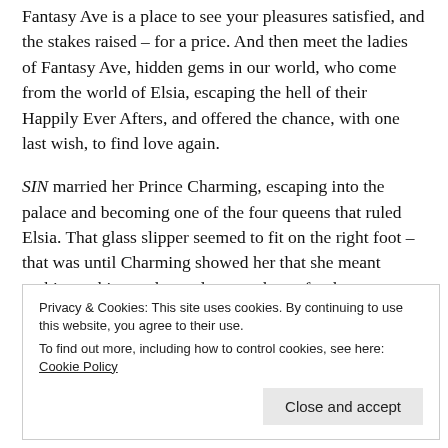Fantasy Ave is a place to see your pleasures satisfied, and the stakes raised – for a price. And then meet the ladies of Fantasy Ave, hidden gems in our world, who come from the world of Elsia, escaping the hell of their Happily Ever Afters, and offered the chance, with one last wish, to find love again.
SIN married her Prince Charming, escaping into the palace and becoming one of the four queens that ruled Elsia. That glass slipper seemed to fit on the right foot – that was until Charming showed her that she meant nothing to him, and even less to others after her story was over. Sin recreated herself, tossing aside her tiara and ballgown, for stilettos and a whip – because she calls the shots now. Never again is she
Privacy & Cookies: This site uses cookies. By continuing to use this website, you agree to their use.
To find out more, including how to control cookies, see here: Cookie Policy
Close and accept